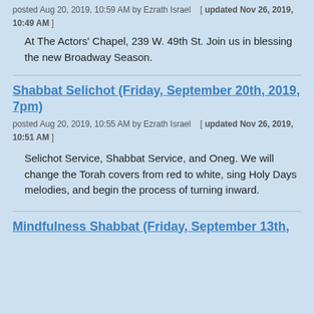posted Aug 20, 2019, 10:59 AM by Ezrath Israel  [ updated Nov 26, 2019, 10:49 AM ]
At The Actors' Chapel, 239 W. 49th St. Join us in blessing the new Broadway Season.
Shabbat Selichot (Friday, September 20th, 2019, 7pm)
posted Aug 20, 2019, 10:55 AM by Ezrath Israel  [ updated Nov 26, 2019, 10:51 AM ]
Selichot Service, Shabbat Service, and Oneg. We will change the Torah covers from red to white, sing Holy Days melodies, and begin the process of turning inward.
Mindfulness Shabbat (Friday, September 13th,